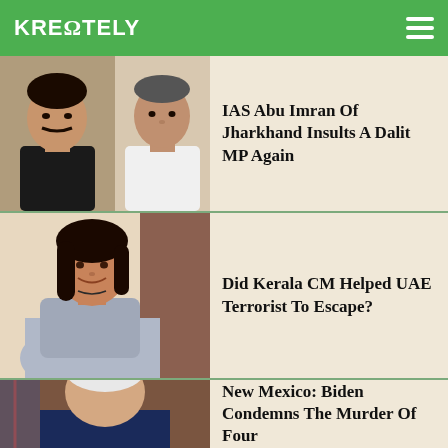KREΩTELY
IAS Abu Imran Of Jharkhand Insults A Dalit MP Again
Did Kerala CM Helped UAE Terrorist To Escape?
New Mexico: Biden Condemns The Murder Of Four